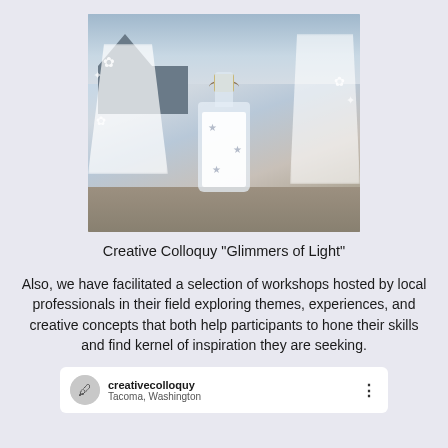[Figure (photo): A glass bottle with white paper inside, decorated with small silver stars and a rustic twine bow with a small tag. The bottle is set against a wintry background with a modernist building silhouette, white decorative elements, and a pebbled ground.]
Creative Colloquy "Glimmers of Light"
Also, we have facilitated a selection of workshops hosted by local professionals in their field exploring themes, experiences, and creative concepts that both help participants to hone their skills and find kernel of inspiration they are seeking.
[Figure (screenshot): Social media post header showing: creativecolloquy account name, Tacoma, Washington location, with a quill/feather logo avatar and a three-dot menu on the right.]